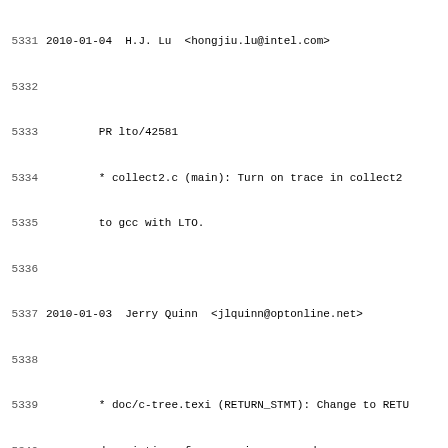5331 2010-01-04  H.J. Lu  <hongjiu.lu@intel.com>
5332
5333         PR lto/42581
5334         * collect2.c (main): Turn on trace in collect2
5335         to gcc with LTO.
5336
5337 2010-01-03  Jerry Quinn  <jlquinn@optonline.net>
5338
5339         * doc/c-tree.texi (RETURN_STMT): Change to RETU
5340         description of expression operand.
5341
5342 2010-01-03  Andrew Jenner  <andrew@codesourcery.com>
5343
5344         * configure.ac: Add install-html to target_list
5345         * configure: Regenerate.
5346         * fortran/Make-lang.in (F95_HTMLFILES): New.
5347         (fortran.html): Use it.
5348         (fortran.install-html): New.
5349         * Makefile.in (install-html): Add lang.install-
5350         * java/Make-lang.in (JAVA_HTMLFILES): New.
5351         (java.html): Use it.
5352         (java.install-html): New.
5353         * objc/Make-lang.in (objc.install-html): New.
5354         * objcp/Make-lang.in (obj-c++.install-html): Ne
5355         * cp/Make-lang.in (c++.install-html): New.
5356         * ada/gcc-interface/Make-lang.in (ada.install-h
5357         * lto/Make-lang.in (lto.install-html): New.
5358
5359 2010-01-03  H.J. Lu  <hongjiu.lu@intel.com>
5360
5361         PR lto/42520
5362         * gcc.c (LINK_COMMAND_SPEC): Pass -m* and -v to